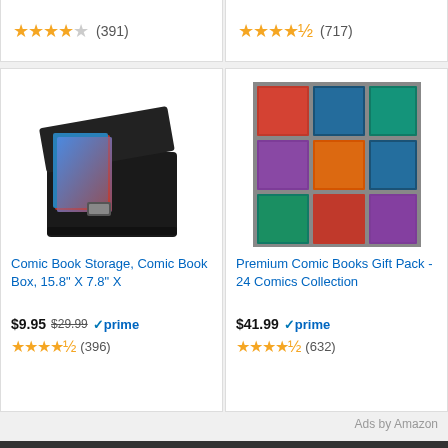★★★★☆ (391)
★★★★½ (717)
[Figure (photo): Comic book storage box, black collapsible box with comic books inside showing superhero covers]
Comic Book Storage, Comic Book Box, 15.8" X 7.8" X
$9.95 $29.99 ✓prime ★★★★½ (396)
[Figure (photo): Premium comic books collection, multiple comics spread out on a table from above]
Premium Comic Books Gift Pack - 24 Comics Collection
$41.99 ✓prime ★★★★½ (632)
Ads by Amazon
Categories
Anime
Comics